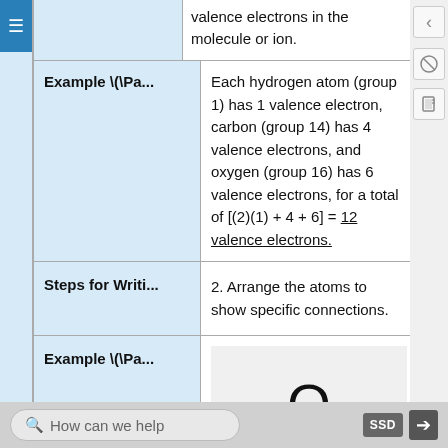valence electrons in the molecule or ion.
Example \(\Pa...
Each hydrogen atom (group 1) has 1 valence electron, carbon (group 14) has 4 valence electrons, and oxygen (group 16) has 6 valence electrons, for a total of [(2)(1) + 4 + 6] = 12 valence electrons.
Steps for Writi...
2. Arrange the atoms to show specific connections.
Example \(\Pa...
[Figure (illustration): Molecular arrangement showing O on top and HCH below, representing atoms in a structural layout for formaldehyde (CH2O).]
How can we help